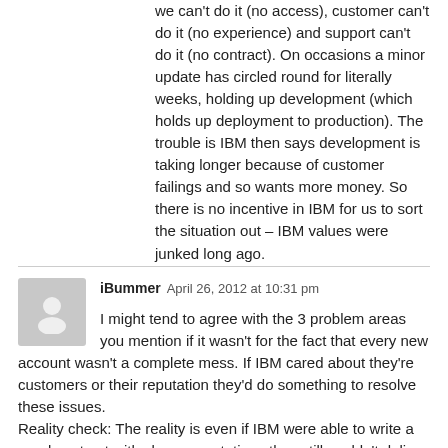we can't do it (no access), customer can't do it (no experience) and support can't do it (no contract). On occasions a minor update has circled round for literally weeks, holding up development (which holds up deployment to production). The trouble is IBM then says development is taking longer because of customer failings and so wants more money. So there is no incentive in IBM for us to sort the situation out – IBM values were junked long ago.
iBummer  April 26, 2012 at 10:31 pm

I might tend to agree with the 3 problem areas you mention if it wasn't for the fact that every new account wasn't a complete mess. If IBM cared about they're customers or their reputation they'd do something to resolve these issues.
Reality check: The reality is even if IBM were able to write a good contract with clear expectations they still couldn't deliver because as Cringely already pointed out "The